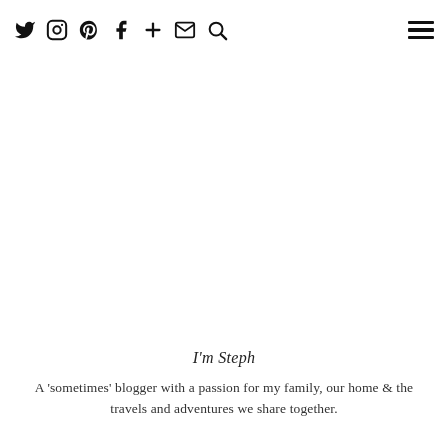Twitter Instagram Pinterest Facebook + Email Search [hamburger menu]
I'm Steph
A 'sometimes' blogger with a passion for my family, our home & the travels and adventures we share together.